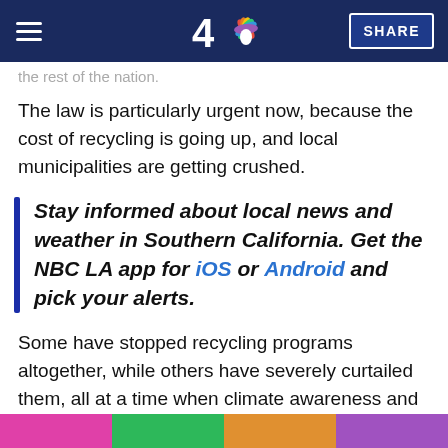NBC 4 Los Angeles - navigation bar with logo and SHARE button
the rest of the nation.
The law is particularly urgent now, because the cost of recycling is going up, and local municipalities are getting crushed.
Stay informed about local news and weather in Southern California. Get the NBC LA app for iOS or Android and pick your alerts.
Some have stopped recycling programs altogether, while others have severely curtailed them, all at a time when climate awareness and action have never been higher.
[Figure (photo): Partial strip of colorful thumbnail images at the bottom of the page]